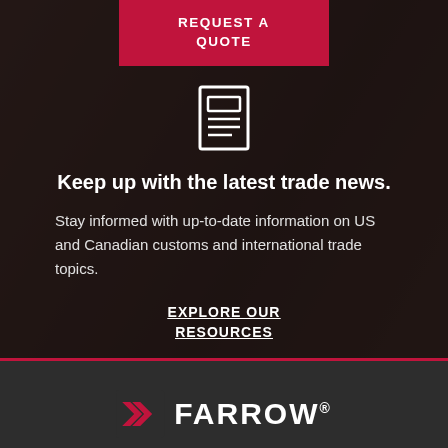[Figure (logo): Farrow company advertisement with dark background, red 'Request a Quote' button at top, newspaper icon, headline text, body text, explore resources link, red separator line, and Farrow logo at bottom]
REQUEST A QUOTE
[Figure (illustration): White outline icon of a newspaper/document with text lines]
Keep up with the latest trade news.
Stay informed with up-to-date information on US and Canadian customs and international trade topics.
EXPLORE OUR RESOURCES
[Figure (logo): Farrow company logo with red chevron/arrow icon and FARROW wordmark in white]